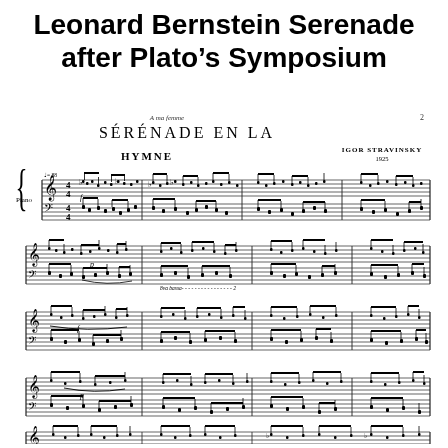Leonard Bernstein Serenade after Plato’s Symposium
[Figure (illustration): Sheet music score page: SERENADE EN LA by Igor Stravinsky 1925. Subtitle: HYMNE. Dedication: A ma femme. Piano score showing 5 systems of grand staff notation with complex piano notation including notes, rests, slurs, dynamics, tempo markings (d=88), ottava markings (8va bassa), and bar lines.]